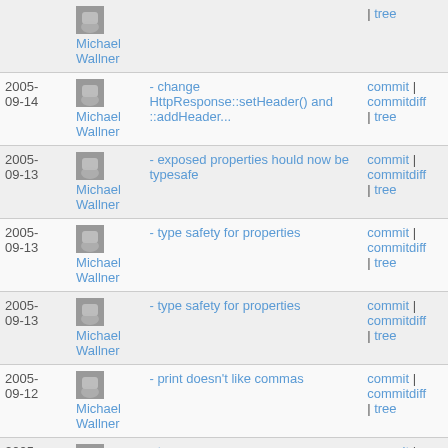| Date | Author | Message | Links |
| --- | --- | --- | --- |
|  | Michael Wallner |  | | tree |
| 2005-09-14 | Michael Wallner | - change HttpResponse::setHeader() and ::addHeader... | commit | commitdiff | tree |
| 2005-09-13 | Michael Wallner | - exposed properties hould now be typesafe | commit | commitdiff | tree |
| 2005-09-13 | Michael Wallner | - type safety for properties | commit | commitdiff | tree |
| 2005-09-13 | Michael Wallner | - type safety for properties | commit | commitdiff | tree |
| 2005-09-12 | Michael Wallner | - print doesn't like commas | commit | commitdiff | tree |
| 2005-09-12 | Michael Wallner | - typo | commit | commitdiff | tree |
| 2005- | Michael Wallner | - added missing HttpMessage::setBody() | commit | |